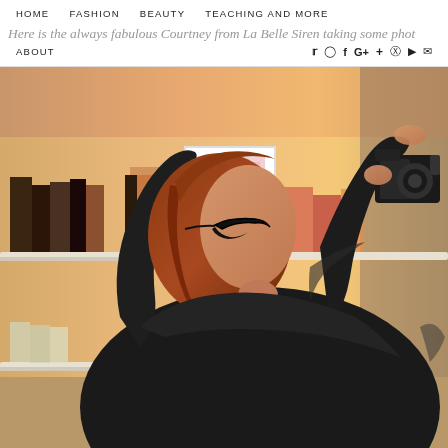HOME   FASHION   BEAUTY   TEACHING AND MORE
Here is the always fabulous Courtney from La Belle Siren taking some phot
ABOUT
[Figure (photo): A woman with red hair and glasses holding a camera up to take a photo, standing in front of shelves with beauty products and framed pictures, in a warmly lit room with orange-toned walls.]